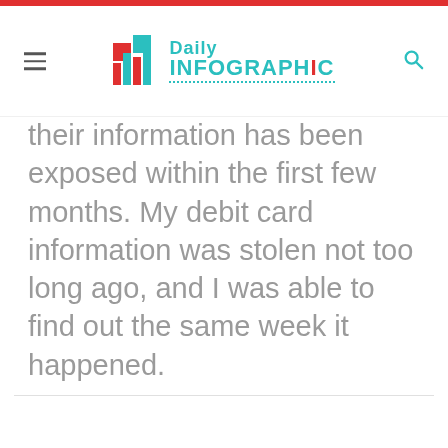Daily Infographic
their information has been exposed within the first few months. My debit card information was stolen not too long ago, and I was able to find out the same week it happened.